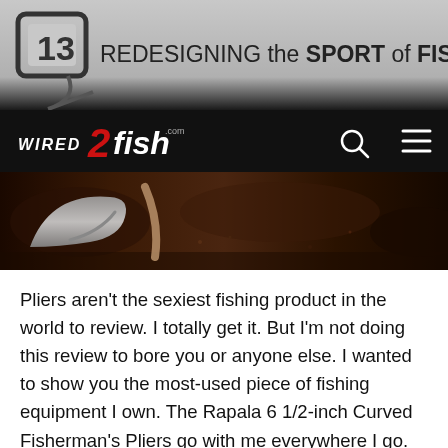[Figure (logo): Top banner with bracket logo showing '13' and text 'REDESIGNING the SPORT of FISHING']
[Figure (logo): Wired2fish navigation bar with logo, search icon, and hamburger menu]
[Figure (photo): Close-up photo of fishing pliers/tools on dark muddy ground with debris]
Pliers aren't the sexiest fishing product in the world to review. I totally get it. But I'm not doing this review to bore you or anyone else. I wanted to show you the most-used piece of fishing equipment I own. The Rapala 6 1/2-inch Curved Fisherman's Pliers go with me everywhere I go. Whether I'm fishing a tournament, guiding a fishing trip or hitting the pond before supper, these things do not leave my side. It has been that way for more than five years. I have two or three in my boat, one in my truck and one in